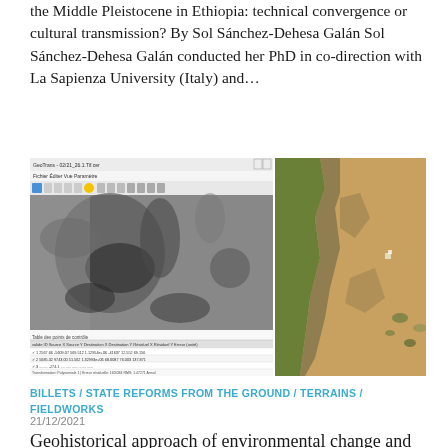the Middle Pleistocene in Ethiopia: technical convergence or cultural transmission? By Sol Sánchez-Dehesa Galán Sol Sánchez-Dehesa Galán conducted her PhD in co-direction with La Sapienza University (Italy) and...
[Figure (screenshot): Screenshot of a geospatial software (GeoTrans or similar) on the left showing a grayscale satellite/aerial image with control point table below, and a Google Earth aerial photo on the right showing terrain with vegetation and arid landscape in Ethiopia.]
BILLETS / STATE REFORMS FROM THE GROUND / TERRAINS / FIELDWORKS
21/12/2021
Geohistorical approach of environmental change and socio-environmental relations